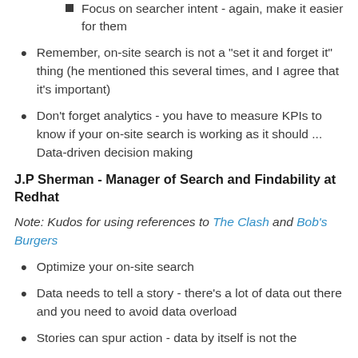Focus on searcher intent - again, make it easier for them
Remember, on-site search is not a "set it and forget it" thing (he mentioned this several times, and I agree that it's important)
Don't forget analytics - you have to measure KPIs to know if your on-site search is working as it should ... Data-driven decision making
J.P Sherman - Manager of Search and Findability at Redhat
Note: Kudos for using references to The Clash and Bob's Burgers
Optimize your on-site search
Data needs to tell a story - there's a lot of data out there and you need to avoid data overload
Stories can spur action - data by itself is not the